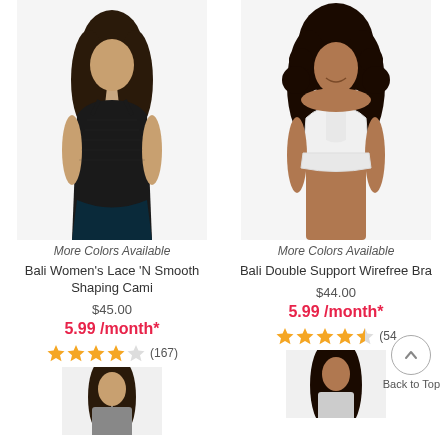[Figure (photo): Woman wearing black Bali Women's Lace 'N Smooth Shaping Cami]
[Figure (photo): Woman wearing white Bali Double Support Wirefree Bra]
More Colors Available
More Colors Available
Bali Women's Lace 'N Smooth Shaping Cami
Bali Double Support Wirefree Bra
$45.00
$44.00
5.99 /month*
5.99 /month*
(167)
(54...
[Figure (photo): Partial image of woman at bottom left]
[Figure (photo): Partial image of woman at bottom right]
Back to Top